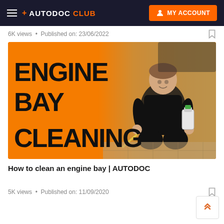+ AUTODOC CLUB   MY ACCOUNT
6K views · Published on: 23/06/2022
[Figure (photo): Video thumbnail for engine bay cleaning tutorial showing large bold text 'ENGINE BAY CLEANING' on orange background with a mechanic kneeling holding cleaning products]
How to clean an engine bay | AUTODOC
5K views · Published on: 11/09/2020